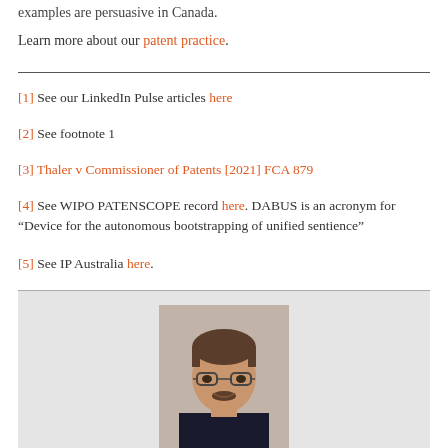examples are persuasive in Canada.
Learn more about our patent practice.
[1] See our LinkedIn Pulse articles here
[2] See footnote 1
[3] Thaler v Commissioner of Patents [2021] FCA 879
[4] See WIPO PATENSCOPE record here. DABUS is an acronym for “Device for the autonomous bootstrapping of unified sentience”
[5] See IP Australia here.
[Figure (photo): Professional headshot of a man with glasses and dark hair, wearing a dark suit, against a neutral background.]